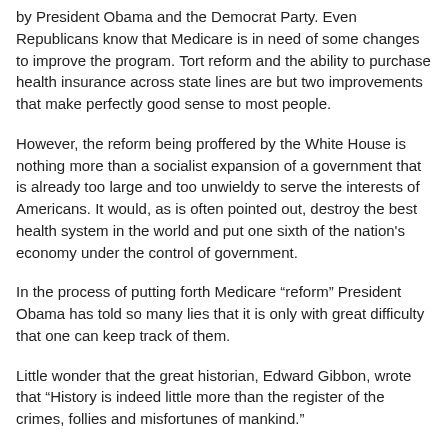by President Obama and the Democrat Party. Even Republicans know that Medicare is in need of some changes to improve the program. Tort reform and the ability to purchase health insurance across state lines are but two improvements that make perfectly good sense to most people.
However, the reform being proffered by the White House is nothing more than a socialist expansion of a government that is already too large and too unwieldy to serve the interests of Americans. It would, as is often pointed out, destroy the best health system in the world and put one sixth of the nation's economy under the control of government.
In the process of putting forth Medicare “reform” President Obama has told so many lies that it is only with great difficulty that one can keep track of them.
Little wonder that the great historian, Edward Gibbon, wrote that “History is indeed little more than the register of the crimes, follies and misfortunes of mankind.”